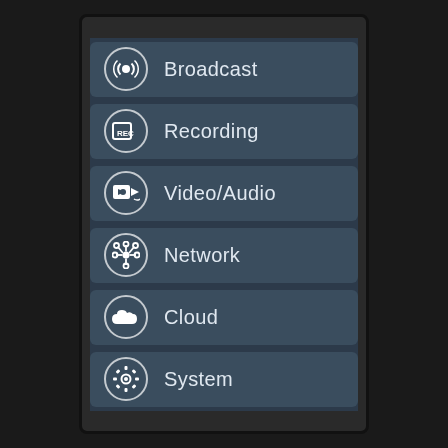[Figure (screenshot): Mobile device screen showing a vertical menu with six items: Broadcast, Recording, Video/Audio, Network, Cloud, System. Each item has a circular icon on the left and a text label on the right, displayed on a dark blue-grey background.]